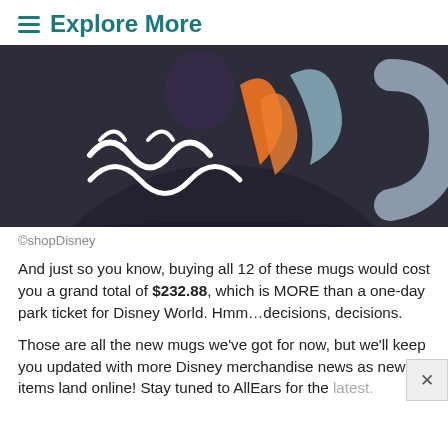≡ Explore More
[Figure (photo): Close-up photo of a dark navy/black Disney themed mug with orange and white swirl/wave designs, showing a gray handle on the right side. Only the bottom portion of the mug is visible.]
©shopDisney
And just so you know, buying all 12 of these mugs would cost you a grand total of $232.88, which is MORE than a one-day park ticket for Disney World. Hmm…decisions, decisions.
Those are all the new mugs we've got for now, but we'll keep you updated with more Disney merchandise news as new items land online! Stay tuned to AllEars for the latest.